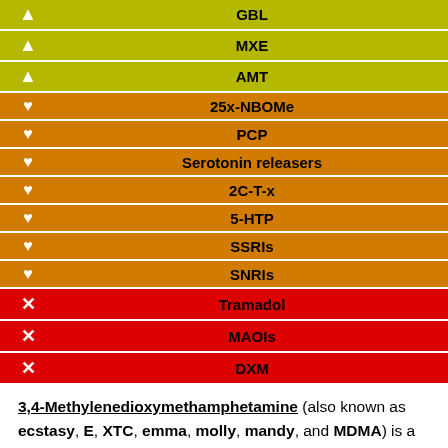| Icon | Substance |
| --- | --- |
| ⚠ | GBL |
| ⚠ | MXE |
| ⚠ | AMT |
| ♥ | 25x-NBOMe |
| ♥ | PCP |
| ♥ | Serotonin releasers |
| ♥ | 2C-T-x |
| ♥ | 5-HTP |
| ♥ | SSRIs |
| ♥ | SNRIs |
| ✗ | Tramadol |
| ✗ | MAOIs |
| ✗ | DXM |
3,4-Methylenedioxymethamphetamine (also known as ecstasy, E, XTC, emma, molly, mandy, and MDMA) is a classical entactogen substance of the amphetamine class. It is the most well-known and widely used member of the entactogens, a diverse